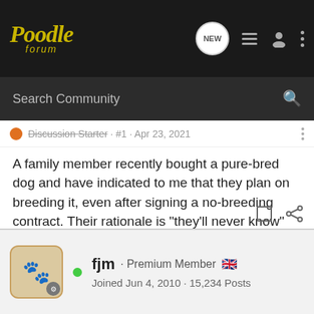Poodle forum
Search Community
Discussion Starter · #1 · Apr 23, 2021
A family member recently bought a pure-bred dog and have indicated to me that they plan on breeding it, even after signing a no-breeding contract. Their rationale is "they'll never know" because we live so far away from the breeder. Can the breeder sue, take the dog, or do any other retaliation with this agreement? All the dogs I've ever owned have been rescues that were neutered already, so I have no idea what one of these contracts look like.
fjm · Premium Member 🇬🇧
Joined Jun 4, 2010 · 15,234 Posts